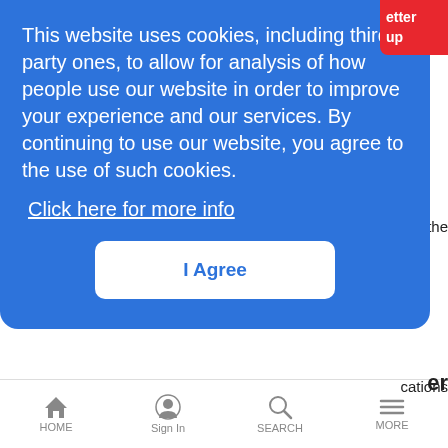This website uses cookies, including third party ones, to allow for analysis of how people use our website in order to improve your experience and our services. By continuing to use our website, you agree to the use of such cookies. Click here for more info
I Agree
[Figure (screenshot): Thumbnail of a video showing a man in a suit with a play button overlay]
Encoding Infrastructure
LRTV Documentaries | 6/16/2008
More content, less bandwidth
Cortina Goes Home
HOME  Sign In  SEARCH  MORE